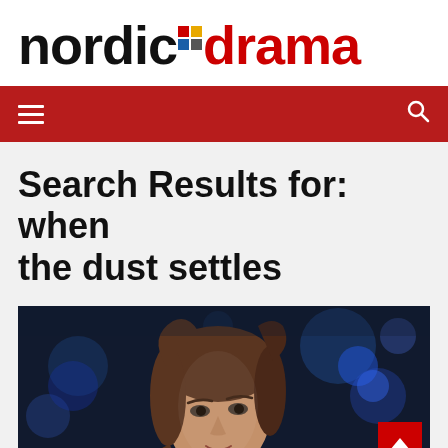[Figure (logo): Nordic Drama logo with black 'nordic' text and red 'drama' text, with colored dot grid between the two words]
hamburger menu icon and search icon on red navigation bar
Search Results for: when the dust settles
[Figure (photo): Close-up photo of a woman with brown hair looking upward, set against a dark blue bokeh background with colored lights]